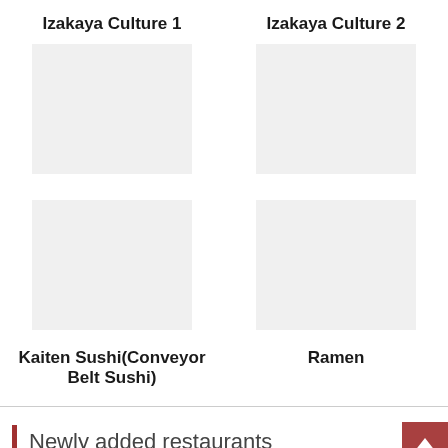Izakaya Culture 1
Izakaya Culture 2
[Figure (photo): Image placeholder for Izakaya Culture 1]
[Figure (photo): Image placeholder for Izakaya Culture 2]
Kaiten Sushi(Conveyor Belt Sushi)
Ramen
[Figure (photo): Image placeholder for Kaiten Sushi]
[Figure (photo): Image placeholder for Ramen]
Newly added restaurants
HORUMON SENKA CHAN
coffee ojibu